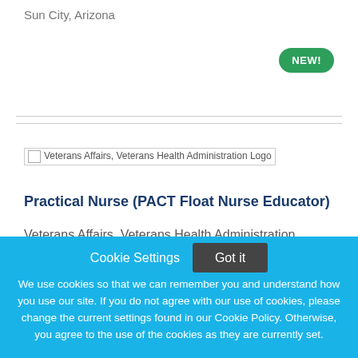Sun City, Arizona
[Figure (logo): Veterans Affairs, Veterans Health Administration Logo (broken image placeholder)]
Practical Nurse (PACT Float Nurse Educator)
Veterans Affairs, Veterans Health Administration
Cookie Settings   Got it

We use cookies so that we can remember you and understand how you use our site. If you do not agree with our use of cookies, please change the current settings found in our Cookie Policy. Otherwise, you agree to the use of the cookies as they are currently set.